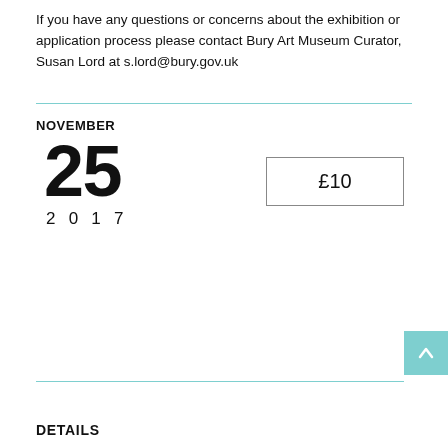If you have any questions or concerns about the exhibition or application process please contact Bury Art Museum Curator, Susan Lord at s.lord@bury.gov.uk
NOVEMBER
25
2017
£10
DETAILS